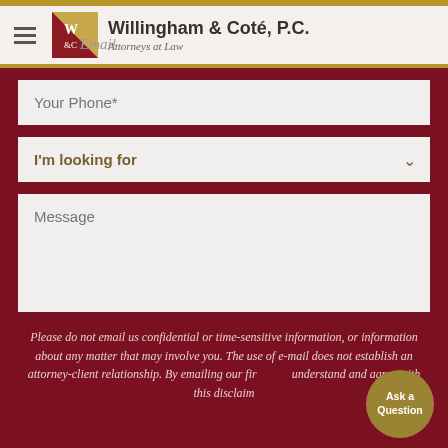[Figure (logo): Willingham & Coté, P.C. Attorneys at Law logo with W&C badge and firm name]
Your Phone*
I'm looking for
Message
Please do not email us confidential or time-sensitive information, or information about any matter that may involve you. The use of e-mail does not establish an attorney-client relationship. By emailing our firm, you understand and agree with this disclaimer.
Ask a Question